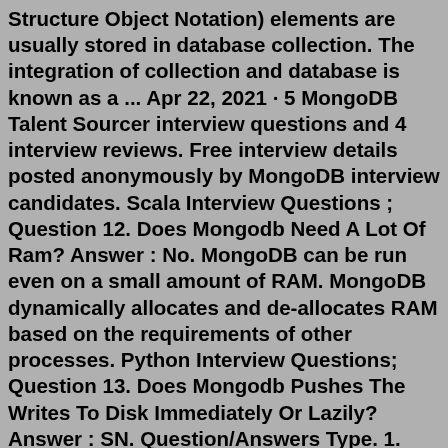Structure Object Notation) elements are usually stored in database collection. The integration of collection and database is known as a ... Apr 22, 2021 · 5 MongoDB Talent Sourcer interview questions and 4 interview reviews. Free interview details posted anonymously by MongoDB interview candidates. Scala Interview Questions ; Question 12. Does Mongodb Need A Lot Of Ram? Answer : No. MongoDB can be run even on a small amount of RAM. MongoDB dynamically allocates and de-allocates RAM based on the requirements of other processes. Python Interview Questions; Question 13. Does Mongodb Pushes The Writes To Disk Immediately Or Lazily? Answer : SN. Question/Answers Type. 1. MongoDB Interview Questions. This section provides a huge collection of MongoDB Interview Questions with their answers hidden in a box to challenge you to have a go at them before discovering the correct answer. 2. MongoDB Online Quiz. This section provides a great collection of MongoDB Multiple Choice Questions ...